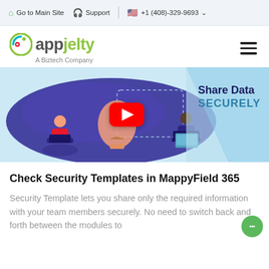Go to Main Site   Support   +1 (408)-329-9693
[Figure (logo): AppJelty logo with circular icon and text 'appjelty — A Biztech Company']
[Figure (screenshot): Video thumbnail banner showing illustrated characters sharing data, a YouTube play button, and text 'Share Data SECURELY' on light blue background]
Check Security Templates in MappyField 365
Security Template lets you share only the required information with your team members securely. No need to switch back and forth between the modules to